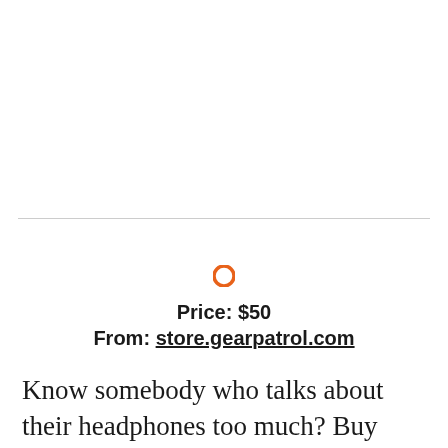[Figure (other): Empty white space area above a horizontal divider line, likely where a product image would appear]
Price: $50
From: store.gearpatrol.com
Know somebody who talks about their headphones too much? Buy them this. Twelve